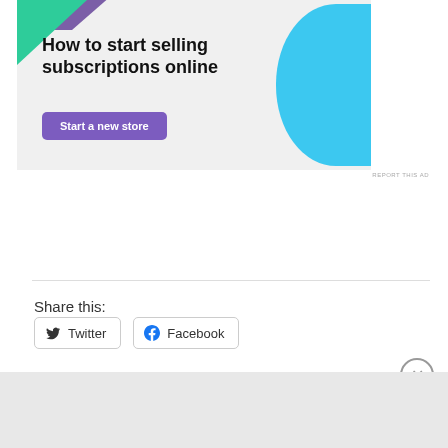[Figure (infographic): Advertisement banner with grey background, purple and green geometric shapes in top-left corner, cyan/blue organic blob shape on right side. Bold black text reads 'How to start selling subscriptions online'. Purple button labeled 'Start a new store'.]
REPORT THIS AD
Share this:
Twitter
Facebook
Advertisements
[Figure (infographic): DuckDuckGo advertisement banner. Left orange section reads 'Search, browse, and email with more privacy. All in One Free App'. Right dark section shows DuckDuckGo logo and name.]
REPORT THIS AD